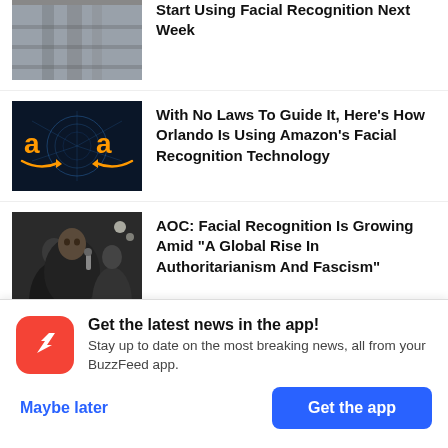[Figure (photo): Partially visible escalator/transit photo with text overlay]
Start Using Facial Recognition Next Week
[Figure (photo): Amazon logo styled with AI/facial recognition neural network imagery on dark blue background]
With No Laws To Guide It, Here's How Orlando Is Using Amazon's Facial Recognition Technology
[Figure (photo): AOC (Alexandria Ocasio-Cortez) speaking at an event with reporters]
AOC: Facial Recognition Is Growing Amid "A Global Rise In Authoritarianism And Fascism"
Get the latest news in the app! Stay up to date on the most breaking news, all from your BuzzFeed app.
Maybe later
Get the app